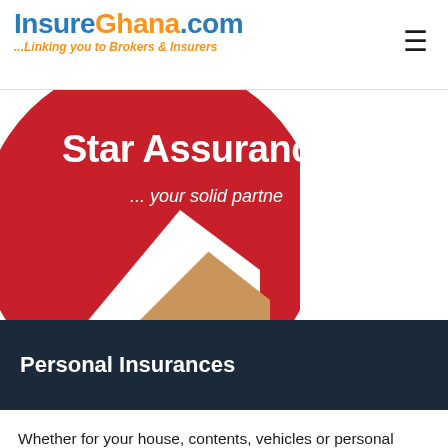InsureGhana.com ...Linking you to Brokers & Insurers
[Figure (logo): Star Assurance circular logo with red background, text 'Star Assurance' and '... your solid partner', with tan/beige lower section]
Personal Insurances
Whether for your house, contents, vehicles or personal properties, WESTOM Insurance Brokers can help you to create bespoke solutions for your personal insurance need